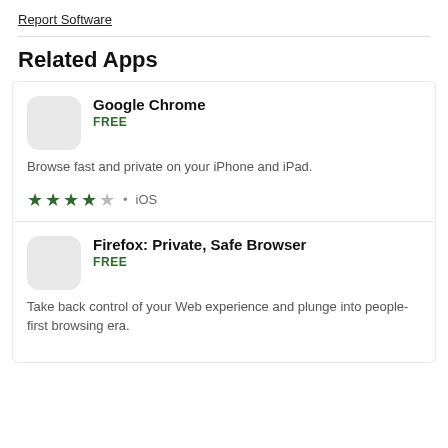Report Software
Related Apps
Google Chrome
FREE
Browse fast and private on your iPhone and iPad.
★★★★☆ · iOS
Firefox: Private, Safe Browser
FREE
Take back control of your Web experience and plunge into people-first browsing era.